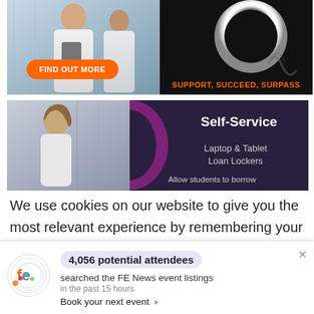[Figure (photo): Two banner images: left shows a person in a lab coat holding a tablet with orange 'FIND OUT MORE' button; right shows a ring light on dark background with orange text 'SUPPORT, SUCCEED, SURPASS']
[Figure (photo): Self-Service banner with a female student on left and dark purple background on right showing 'Self-Service Laptop & Tablet Loan Lockers. Allow students to borrow...']
We use cookies on our website to give you the most relevant experience by remembering your preferences and repeat visits. By clicking “Accept”, you consent to
4,056 potential attendees
searched the FE News event listings
in the past 15 hours
Book your next event ›